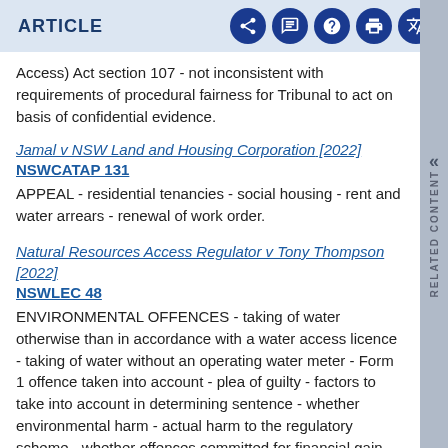ARTICLE
Access) Act section 107 - not inconsistent with requirements of procedural fairness for Tribunal to act on basis of confidential evidence.
Jamal v NSW Land and Housing Corporation [2022] NSWCATAP 131
APPEAL - residential tenancies - social housing - rent and water arrears - renewal of work order.
Natural Resources Access Regulator v Tony Thompson [2022] NSWLEC 48
ENVIRONMENTAL OFFENCES - taking of water otherwise than in accordance with a water access licence - taking of water without an operating water meter - Form 1 offence taken into account - plea of guilty - factors to take into account in determining sentence - whether environmental harm - actual harm to the regulatory scheme - whether offences committed for financial gain - whether offences committed recklessly - contrition and remorse demonstrated - totality principle applied - comparable